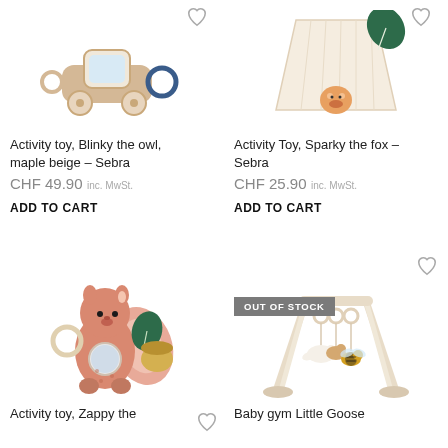[Figure (photo): Activity toy Blinky the owl product image - wooden ring toy with mirror and blue ring]
Activity toy, Blinky the owl, maple beige – Sebra
CHF 49.90 inc. MwSt.
ADD TO CART
[Figure (photo): Activity Toy Sparky the fox product image - fabric blanket toy with green leaf]
Activity Toy, Sparky the fox – Sebra
CHF 25.90 inc. MwSt.
ADD TO CART
[Figure (photo): Activity toy Zappy the squirrel - pink squirrel plush toy with mirror and green leaf]
Activity toy, Zappy the
[Figure (photo): Baby gym Little Goose - wooden baby gym frame with hanging animal toys. OUT OF STOCK badge visible.]
OUT OF STOCK
Baby gym Little Goose